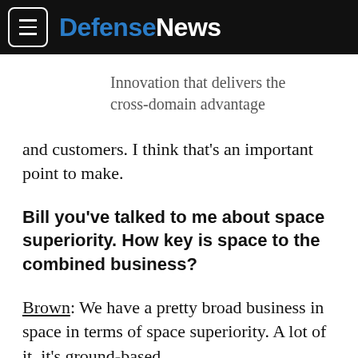DefenseNews
[Figure (logo): DefenseNews logo with hamburger menu icon on black header bar]
Innovation that delivers the cross-domain advantage
and customers. I think that's an important point to make.
Bill you've talked to me about space superiority. How key is space to the combined business?
Brown: We have a pretty broad business in space in terms of space superiority. A lot of it, it's ground-based